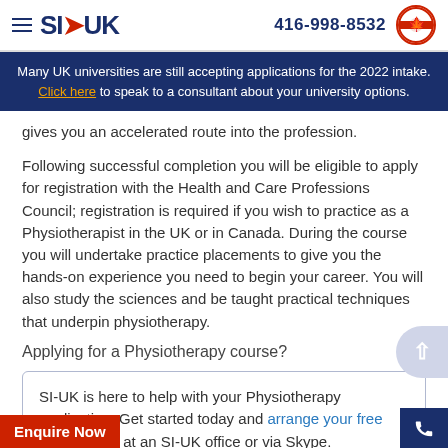SI-UK | 416-998-8532
Many UK universities are still accepting applications for the 2022 intake. Click here to speak to a consultant about your university options.
gives you an accelerated route into the profession.
Following successful completion you will be eligible to apply for registration with the Health and Care Professions Council; registration is required if you wish to practice as a Physiotherapist in the UK or in Canada. During the course you will undertake practice placements to give you the hands-on experience you need to begin your career. You will also study the sciences and be taught practical techniques that underpin physiotherapy.
Applying for a Physiotherapy course?
SI-UK is here to help with your Physiotherapy application. Get started today and arrange your free consultation at an SI-UK office or via Skype.